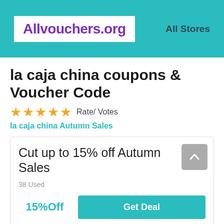[Figure (logo): Allvouchers.org logo in purple bold text on white background, inside teal header bar]
All Stores
la caja china coupons & Voucher Code
★★★★★ Rate/ Votes
la caja china Autumn Sales
Cut up to 15% off Autumn Sales
38 Used
15%Off
Get Deal